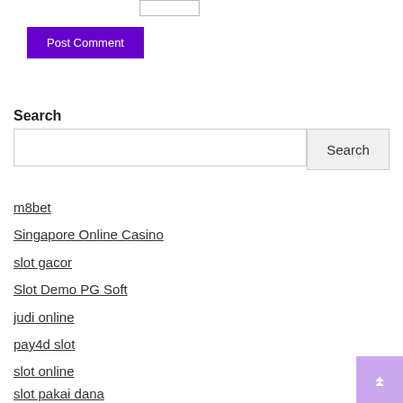[Figure (other): Small input text box at top of page]
Post Comment
Search
[Figure (other): Search input field with Search button]
m8bet
Singapore Online Casino
slot gacor
Slot Demo PG Soft
judi online
pay4d slot
slot online
slot pakai dana